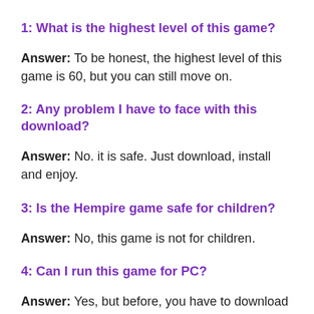1: What is the highest level of this game?
Answer: To be honest, the highest level of this game is 60, but you can still move on.
2: Any problem I have to face with this download?
Answer: No. it is safe. Just download, install and enjoy.
3: Is the Hempire game safe for children?
Answer: No, this game is not for children.
4: Can I run this game for PC?
Answer: Yes, but before, you have to download blue stacks for PC.